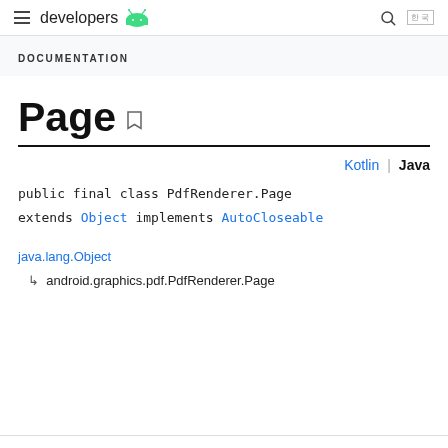developers
DOCUMENTATION
Page
Kotlin | Java
java.lang.Object
↳  android.graphics.pdf.PdfRenderer.Page